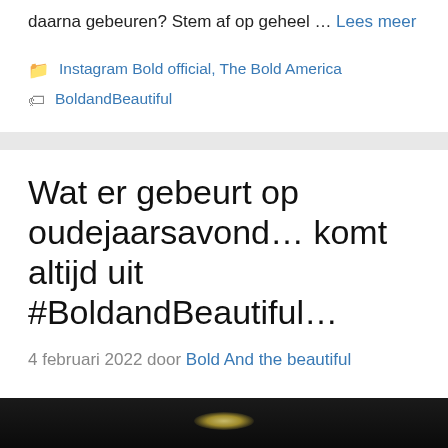daarna gebeuren? Stem af op geheel … Lees meer
Instagram Bold official, The Bold America
BoldandBeautiful
Wat er gebeurt op oudejaarsavond… komt altijd uit #BoldandBeautiful…
4 februari 2022 door Bold And the beautiful
[Figure (photo): Dark image strip, partially visible at bottom, with a small light or glow in the center]